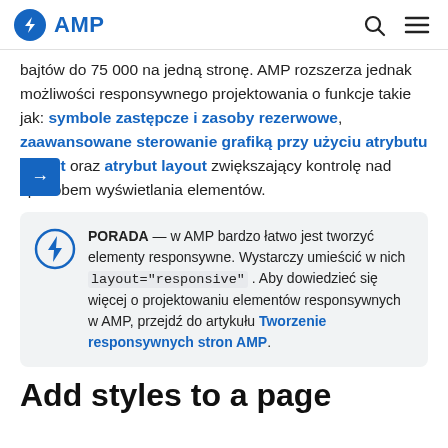AMP
bajtów do 75 000 na jedną stronę. AMP rozszerza jednak możliwości responsywnego projektowania o funkcje takie jak: symbole zastępcze i zasoby rezerwowe, zaawansowane sterowanie grafiką przy użyciu atrybutu srcset oraz atrybut layout zwiększający kontrolę nad sposobem wyświetlania elementów.
PORADA — w AMP bardzo łatwo jest tworzyć elementy responsywne. Wystarczy umieścić w nich layout="responsive" . Aby dowiedzieć się więcej o projektowaniu elementów responsywnych w AMP, przejdź do artykułu Tworzenie responsywnych stron AMP.
Add styles to a page